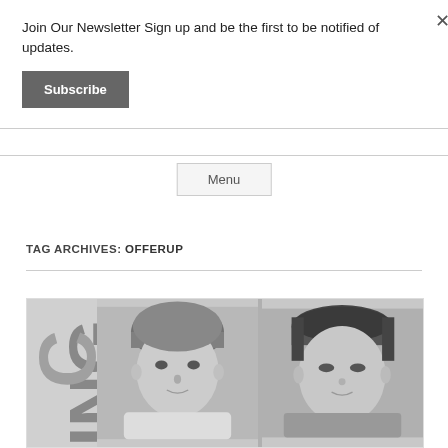Join Our Newsletter Sign up and be the first to be notified of updates.
Subscribe
Menu
TAG ARCHIVES: OFFERUP
[Figure (photo): Grayscale image showing two children's passport-style portrait photos side by side, with partial large text letters on the left side of the image]